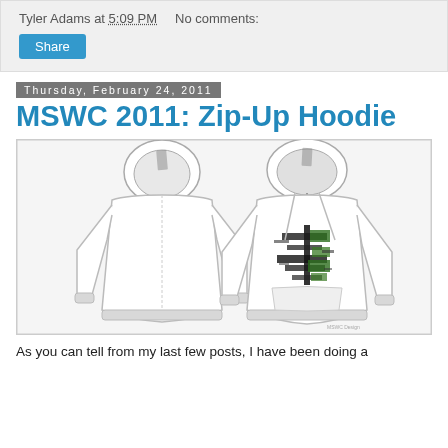Tyler Adams at 5:09 PM   No comments:
Thursday, February 24, 2011
MSWC 2011: Zip-Up Hoodie
[Figure (photo): Design mockup of a white zip-up hoodie shown from back and front views. The back view shows the plain hood and body. The front view shows a graphic design on the chest area featuring black and green distressed/brushstroke elements. The hoodie is white with ribbed cuffs and hem.]
As you can tell from my last few posts, I have been doing a